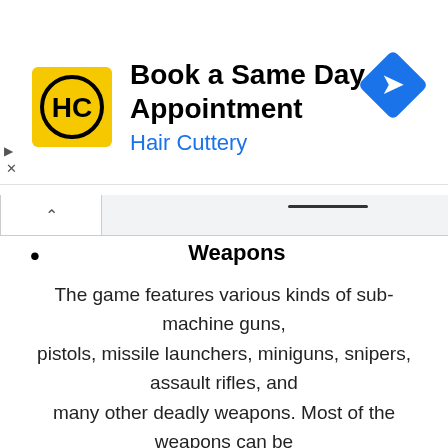[Figure (other): Hair Cuttery advertisement banner: 'Book a Same Day Appointment' with Hair Cuttery logo (HC in yellow square) and a blue diamond navigation icon]
Weapons
The game features various kinds of sub-machine guns, pistols, missile launchers, miniguns, snipers, assault rifles, and many other deadly weapons. Most of the weapons can be modified for better game play.
Crysis is a fantastic shooter game where the players would use solid weapons to knock the intelligent enemies. The design of the game is stunning and it makes up for an entertaining ballistic showdown. The story was created to immerse the players in a realistic scenario about the near